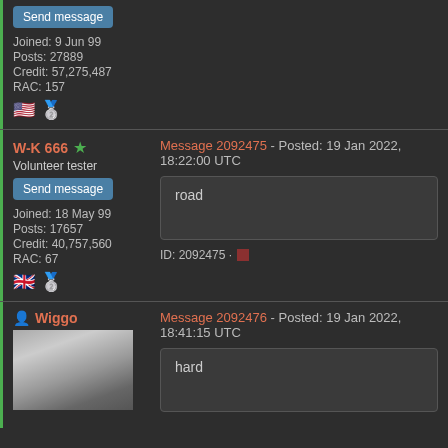Send message
Joined: 9 Jun 99
Posts: 27889
Credit: 57,275,487
RAC: 157
🇺🇸 🥈
W-K 666 ★
Volunteer tester
Message 2092475 - Posted: 19 Jan 2022, 18:22:00 UTC
road
Send message
Joined: 18 May 99
Posts: 17657
Credit: 40,757,560
RAC: 67
🇬🇧 🥈
ID: 2092475 · ▪
Wiggo
Message 2092476 - Posted: 19 Jan 2022, 18:41:15 UTC
hard